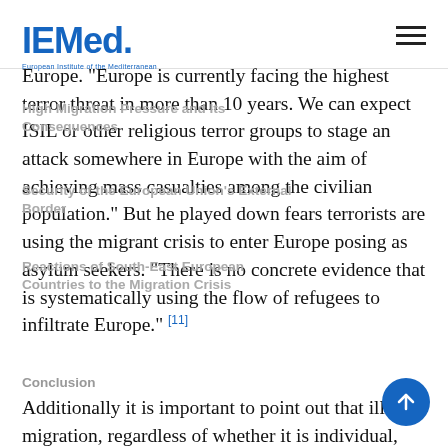IEMed. European Institute of the Mediterranean
Europe. “Europe is currently facing the highest terror threat in more than 10 years. We can expect ISIL or other religious terror groups to stage an attack somewhere in Europe with the aim of achieving mass casualties among the civilian population.” But he played down fears terrorists are using the migrant crisis to enter Europe posing as asylum seekers. “There is no concrete evidence that is systematically using the flow of refugees to infiltrate Europe.” [11]
Conclusion
Additionally it is important to point out that illegal migration, regardless of whether it is individual, overseen by organised crime groups or of potential terrorists, implies a sequence of